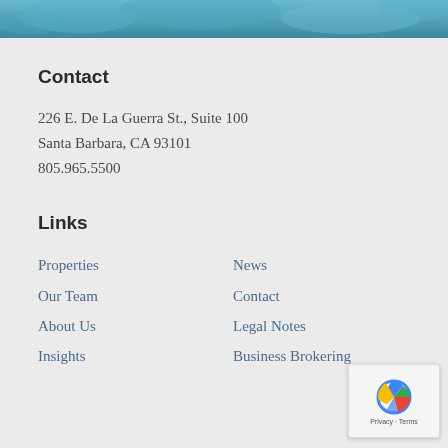[Figure (photo): Blue decorative header banner with teal/ocean colors at the top of the page]
Contact
226 E. De La Guerra St., Suite 100
Santa Barbara, CA 93101
805.965.5500
Links
Properties
News
Our Team
Contact
About Us
Legal Notes
Insights
Business Brokering